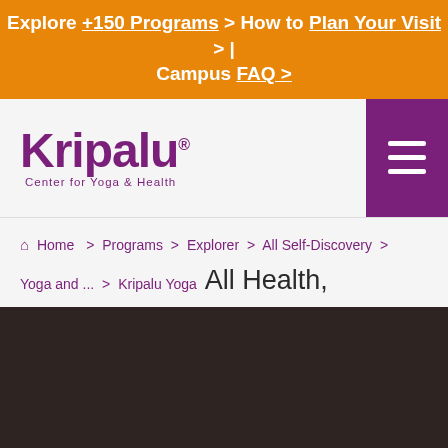Explore +150 Programs > How to Plan Your Visit > | Campus FAQ >
[Figure (logo): Kripalu Center for Yoga & Health logo with purple text]
Home > Programs > Explorer > All Self-Discovery > Yoga and ... > Kripalu Yoga
All Health, Fitness, and Wellness
[Figure (photo): Dark brown/black section, likely a hero image area]